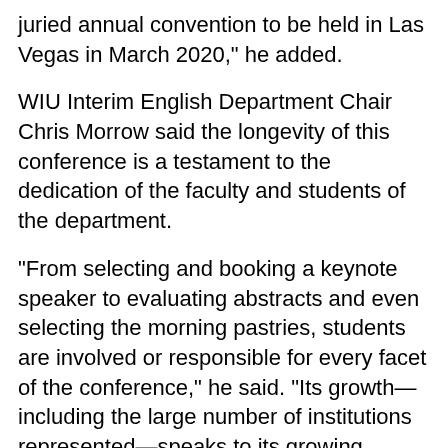juried annual convention to be held in Las Vegas in March 2020," he added.
WIU Interim English Department Chair Chris Morrow said the longevity of this conference is a testament to the dedication of the faculty and students of the department.
"From selecting and booking a keynote speaker to evaluating abstracts and even selecting the morning pastries, students are involved or responsible for every facet of the conference," he said. "Its growth—including the large number of institutions represented—speaks to its growing regional reputation as a place for students to present their work in a friendly and supportive environment. And it provides all students the opportunity to network and work with faculty."
Prizes for best conference papers for undergraduates